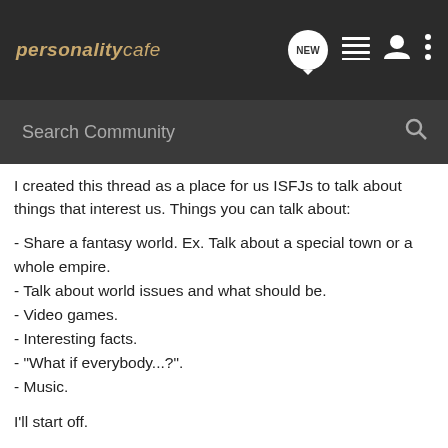personalitycafe
I created this thread as a place for us ISFJs to talk about things that interest us. Things you can talk about:
- Share a fantasy world. Ex. Talk about a special town or a whole empire.
- Talk about world issues and what should be.
- Video games.
- Interesting facts.
- "What if everybody...?".
- Music.
I'll start off.
I like aviation a lot, especially when I was in high school. At the end of high school, I was hoping to get a pilot's license. I forget why I didn't do that. Perhaps the volunteer work I got involved